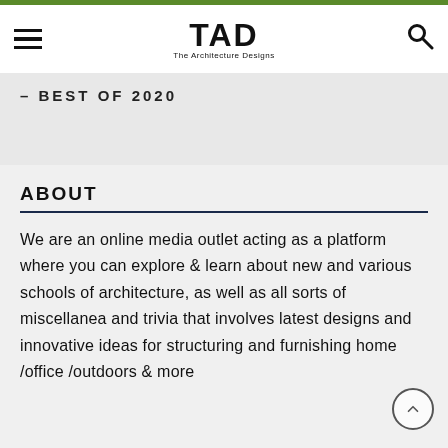TAD – The Architecture Designs
– BEST OF 2020
ABOUT
We are an online media outlet acting as a platform where you can explore & learn about new and various schools of architecture, as well as all sorts of miscellanea and trivia that involves latest designs and innovative ideas for structuring and furnishing home /office /outdoors & more